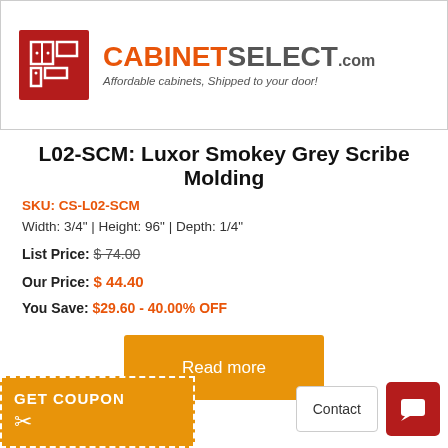[Figure (logo): CabinetSelect.com logo with red square icon and orange/grey text. Tagline: Affordable cabinets, Shipped to your door!]
L02-SCM: Luxor Smokey Grey Scribe Molding
SKU: CS-L02-SCM
Width: 3/4" | Height: 96" | Depth: 1/4"
List Price: $74.00
Our Price: $44.40
You Save: $29.60 - 40.00% OFF
[Figure (other): Orange Read more button]
[Figure (other): Orange GET COUPON banner with dashed border and scissors icon at bottom-left]
[Figure (other): Contact button and red chat icon button at bottom-right]